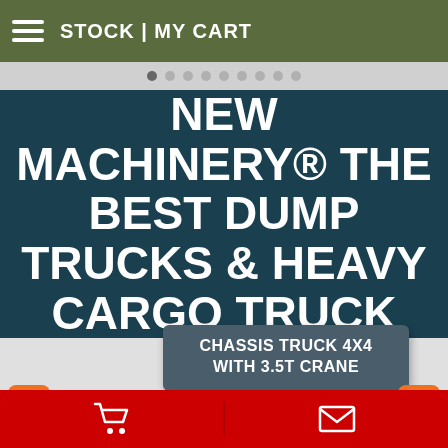STOCK | MY CART
NEW MACHINERY® THE BEST DUMP TRUCKS & HEAVY CARGO TRUCK
CHASSIS TRUCK 4X4 WITH 3.5T CRANE
[Figure (screenshot): Mobile website screenshot showing a machinery dealer page with navigation header, hero banner, product card with tooltip, carousel arrows, and bottom navigation bar]